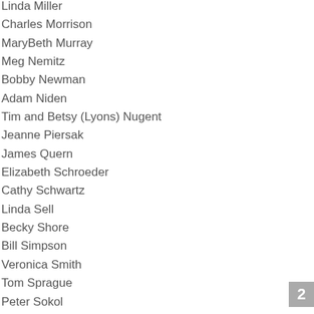Linda Miller
Charles Morrison
MaryBeth Murray
Meg Nemitz
Bobby Newman
Adam Niden
Tim and Betsy (Lyons) Nugent
Jeanne Piersak
James Quern
Elizabeth Schroeder
Cathy Schwartz
Linda Sell
Becky Shore
Bill Simpson
Veronica Smith
Tom Sprague
Peter Sokol
Paul Terkelson
David and Lisa (Tedeschi) Vergara
2